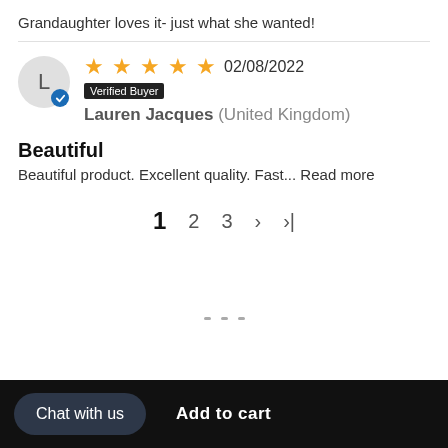Grandaughter loves it- just what she wanted!
02/08/2022 Verified Buyer Lauren Jacques (United Kingdom)
Beautiful
Beautiful product. Excellent quality. Fast... Read more
1 2 3 > >|
Chat with us  Add to cart